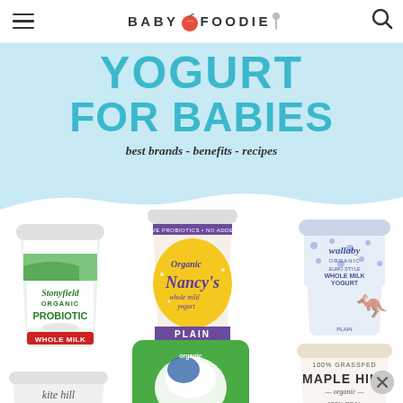BABY FOODIE
[Figure (infographic): Yogurt for Babies website screenshot showing the Baby Foodie logo header with hamburger menu and search icon, a teal/light blue banner with 'YOGURT FOR BABIES - best brands - benefits - recipes' headline, and product photos including Stonyfield Organic Probiotic Whole Milk Plain yogurt, Organic Nancy's Whole Mild Yogurt Plain, Wallaby Organic Whole Milk Yogurt Plain, a green packaged yogurt, Maple Hill 100% Grassfed Organic yogurt, and Kite Hill yogurt.]